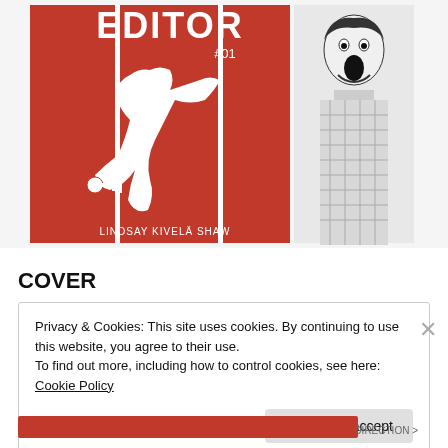[Figure (illustration): Comic book cover image showing 'EDITOR #01' with a red background featuring a white silhouette of a running/leaping figure, a key, and text 'LINDSAY KIVELÄ SHAW' at the bottom. A second image on the right shows a black and white illustration of a person with an open mouth (screaming or shouting).]
COVER
Privacy & Cookies: This site uses cookies. By continuing to use this website, you agree to their use.
To find out more, including how to control cookies, see here: Cookie Policy
Close and accept